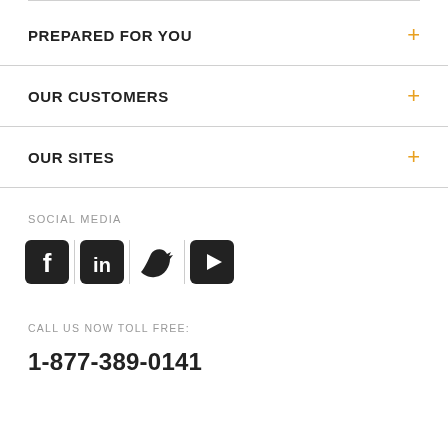PREPARED FOR YOU
OUR CUSTOMERS
OUR SITES
SOCIAL MEDIA
[Figure (illustration): Social media icons: Facebook, LinkedIn, Twitter, YouTube]
CALL US NOW TOLL FREE:
1-877-389-0141